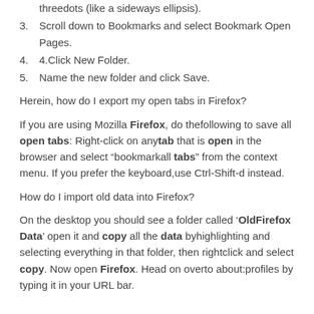3. Scroll down to Bookmarks and select Bookmark Open Pages.
4. 4.Click New Folder.
5. Name the new folder and click Save.
Herein, how do I export my open tabs in Firefox?
If you are using Mozilla Firefox, do thefollowing to save all open tabs: Right-click on anytab that is open in the browser and select “bookmarkall tabs” from the context menu. If you prefer the keyboard,use Ctrl-Shift-d instead.
How do I import old data into Firefox?
On the desktop you should see a folder called ‘OldFirefox Data’ open it and copy all the data byhighlighting and selecting everything in that folder, then rightclick and select copy. Now open Firefox. Head on overto about:profiles by typing it in your URL bar.